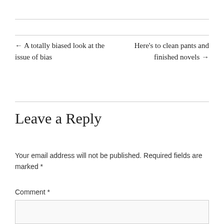← A totally biased look at the issue of bias
Here's to clean pants and finished novels →
Leave a Reply
Your email address will not be published. Required fields are marked *
Comment *